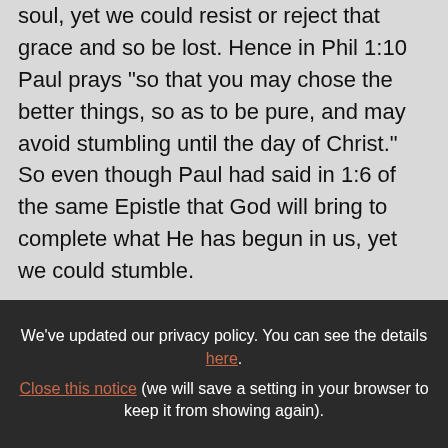soul, yet we could resist or reject that grace and so be lost. Hence in Phil 1:10 Paul prays "so that you may chose the better things, so as to be pure, and may avoid stumbling until the day of Christ." So even though Paul had said in 1:6 of the same Epistle that God will bring to complete what He has begun in us, yet we could stumble.
An objection could be raised from the definition of the Council of Trent (DS 1566):"If
We've updated our privacy policy. You can see the details here. Close this notice (we will save a setting in your browser to keep it from showing again).